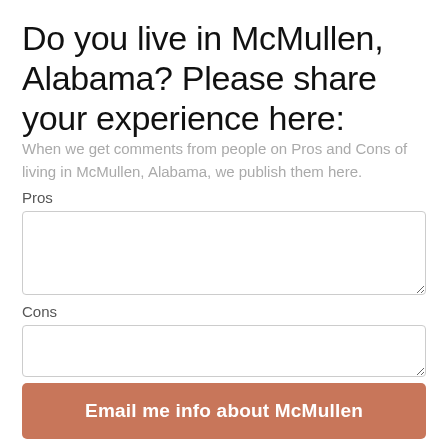Do you live in McMullen, Alabama? Please share your experience here:
When we get comments from people on Pros and Cons of living in McMullen, Alabama, we publish them here.
Pros
Cons
Email me info about McMullen